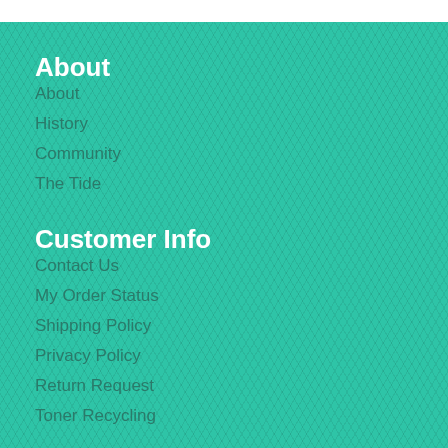About
About
History
Community
The Tide
Customer Info
Contact Us
My Order Status
Shipping Policy
Privacy Policy
Return Request
Toner Recycling
Supplies
Facility & Breakroom